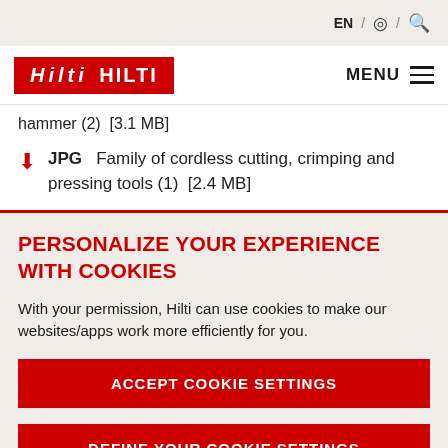EN / [globe] / [search]
[Figure (logo): Hilti logo in red rectangle with white italic text, and MENU button with hamburger icon]
hammer (2)  [3.1 MB]
JPG  Family of cordless cutting, crimping and pressing tools (1)  [2.4 MB]
PERSONALIZE YOUR EXPERIENCE WITH COOKIES
With your permission, Hilti can use cookies to make our websites/apps work more efficiently for you.
ACCEPT COOKIE SETTINGS
DEFINE YOUR COOKIE SETTINGS